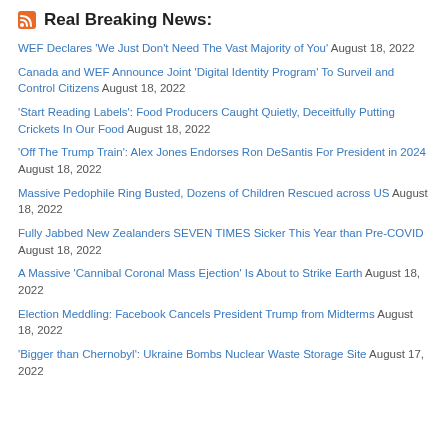Real Breaking News:
WEF Declares 'We Just Don't Need The Vast Majority of You' August 18, 2022
Canada and WEF Announce Joint 'Digital Identity Program' To Surveil and Control Citizens August 18, 2022
'Start Reading Labels': Food Producers Caught Quietly, Deceitfully Putting Crickets In Our Food August 18, 2022
'Off The Trump Train': Alex Jones Endorses Ron DeSantis For President in 2024 August 18, 2022
Massive Pedophile Ring Busted, Dozens of Children Rescued across US August 18, 2022
Fully Jabbed New Zealanders SEVEN TIMES Sicker This Year than Pre-COVID August 18, 2022
A Massive 'Cannibal Coronal Mass Ejection' Is About to Strike Earth August 18, 2022
Election Meddling: Facebook Cancels President Trump from Midterms August 18, 2022
'Bigger than Chernobyl': Ukraine Bombs Nuclear Waste Storage Site August 17, 2022